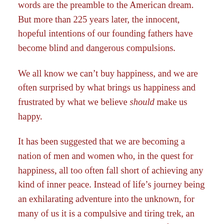words are the preamble to the American dream. But more than 225 years later, the innocent, hopeful intentions of our founding fathers have become blind and dangerous compulsions.
We all know we can't buy happiness, and we are often surprised by what brings us happiness and frustrated by what we believe should make us happy.
It has been suggested that we are becoming a nation of men and women who, in the quest for happiness, all too often fall short of achieving any kind of inner peace. Instead of life's journey being an exhilarating adventure into the unknown, for many of us it is a compulsive and tiring trek, an exhausting journey where the next stop for replenishment never seems to arrive.
George Santayana: “A string of excited, fugitive,